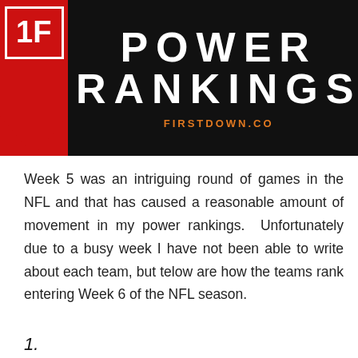[Figure (logo): Power Rankings banner with black background, red left section with logo and downward arrow, green right section with hamburger menu icon. Center text reads POWER RANKINGS with FIRSTDOWN.CO in orange below.]
Week 5 was an intriguing round of games in the NFL and that has caused a reasonable amount of movement in my power rankings.  Unfortunately due to a busy week I have not been able to write about each team, but telow are how the teams rank entering Week 6 of the NFL season.
1.